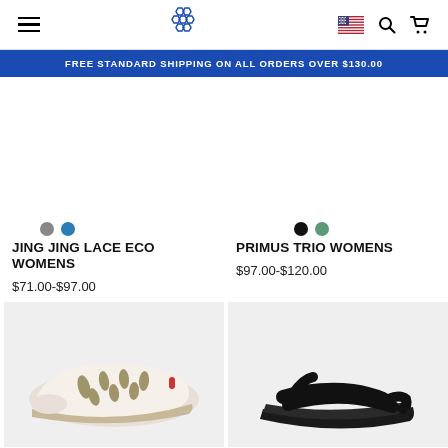Navigation header with hamburger menu, honeycomb logo, US flag, search and cart icons
FREE STANDARD SHIPPING ON ALL ORDERS OVER $130.00
[Figure (photo): Jing Jing Lace Eco Womens shoe - white slip-on with feather pattern]
[Figure (photo): Primus Trio Womens sandal - black toe-loop sandal]
JING JING LACE ECO WOMENS
$71.00-$97.00
PRIMUS TRIO WOMENS
$97.00-$120.00